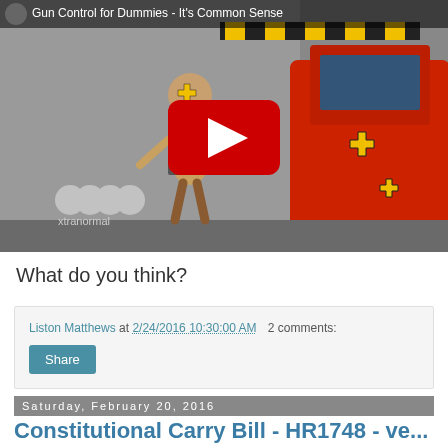[Figure (screenshot): YouTube video thumbnail showing an animated crash test dummy character standing next to a red car, with the title 'Gun Control for Dummies - It's Common Sense' and a YouTube play button overlay. The xtranormal logo is visible in the lower left.]
What do you think?
Liston Matthews at 2/24/2016 10:30:00 AM     2 comments:
Share
Saturday, February 20, 2016
Constitutional Carry Bill - HR1748 - ve...